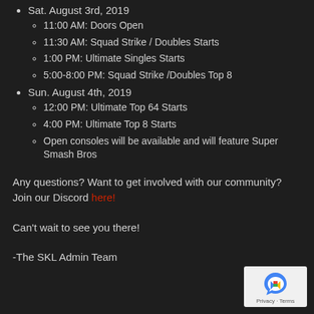Sat. August 3rd, 2019
11:00 AM: Doors Open
11:30 AM: Squad Strike / Doubles Starts
1:00 PM: Ultimate Singles Starts
5:00-8:00 PM: Squad Strike /Doubles Top 8
Sun. August 4th, 2019
12:00 PM: Ultimate Top 64 Starts
4:00 PM: Ultimate Top 8 Starts
Open consoles will be available and will feature Super Smash Bros
Any questions? Want to get involved with our community? Join our Discord here!
Can't wait to see you there!
-The SKL Admin Team